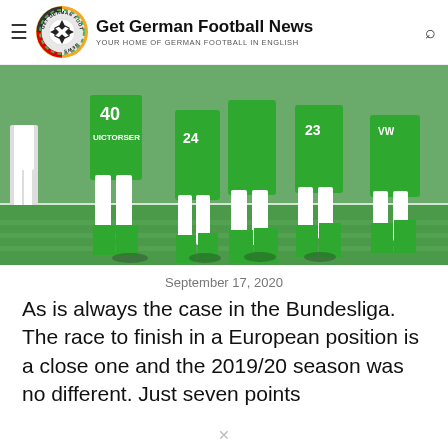Get German Football News — YOUR HOME OF GERMAN FOOTBALL IN ENGLISH
[Figure (photo): Players in green Wolfsburg kits walking on a football pitch, jersey numbers visible including 40, 24, 23]
September 17, 2020
As is always the case in the Bundesliga. The race to finish in a European position is a close one and the 2019/20 season was no different. Just seven points